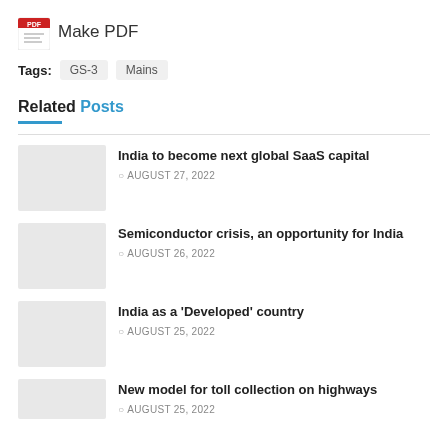[Figure (logo): PDF icon with red header and white page icon]
Make PDF
Tags: GS-3 Mains
Related Posts
India to become next global SaaS capital — AUGUST 27, 2022
Semiconductor crisis, an opportunity for India — AUGUST 26, 2022
India as a 'Developed' country — AUGUST 25, 2022
New model for toll collection on highways — AUGUST 25, 2022